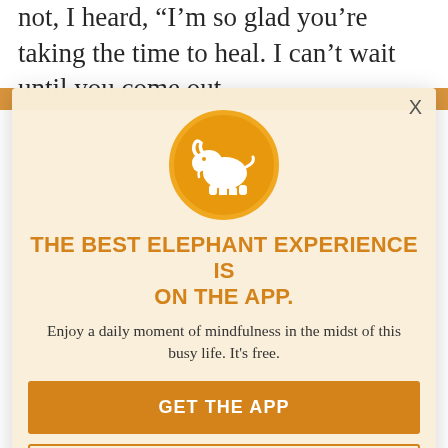not, I heard, “I’m so glad you’re taking the time to heal. I can’t wait until you come out again. Text me—we’ll grab a drink!” They didn’t say this because they didn’t care about my well-being. They did it because they already knew—and I already knew I— with alcohol. … those around … my right to make adult decisions. I wouldn’t end this love/lance with drugs … when I was ready, and until then, they would support me.
[Figure (logo): Elephant Journal app icon: white elephant silhouette on orange circle]
THE BEST ELEPHANT EXPERIENCE IS ON THE APP.
Enjoy a daily moment of mindfulness in the midst of this busy life. It’s free.
GET THE APP
OPEN IN APP